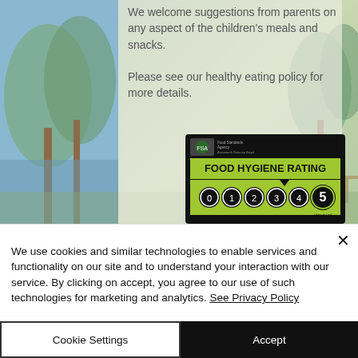[Figure (photo): Outdoor park/garden scene with trees visible through a semi-transparent overlay panel]
We welcome suggestions from parents on any aspect of the children's meals and snacks.

Please see our healthy eating policy for more details.
[Figure (other): Food Hygiene Rating badge showing rating 5 (very good), with numbered circles 0-4 and a highlighted 5, issued by the Food Standards Agency]
We use cookies and similar technologies to enable services and functionality on our site and to understand your interaction with our service. By clicking on accept, you agree to our use of such technologies for marketing and analytics. See Privacy Policy
Cookie Settings
Accept